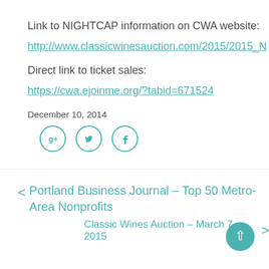Link to NIGHTCAP information on CWA website:
http://www.classicwinesauction.com/2015/2015_N
Direct link to ticket sales:
https://cwa.ejoinme.org/?tabid=671524
December 10, 2014
[Figure (infographic): Three social media icon circles (Google+, Twitter, Facebook) in teal outline style]
< Portland Business Journal – Top 50 Metro-Area Nonprofits
Classic Wines Auction – March 7, 2015 >